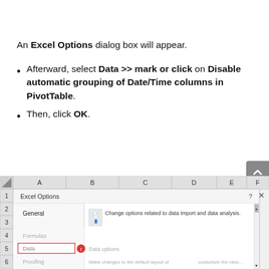An Excel Options dialog box will appear.
Afterward, select Data >> mark or click on Disable automatic grouping of Date/Time columns in PivotTable.
Then, click OK.
[Figure (screenshot): Screenshot of Excel showing the Excel Options dialog box open with General and Data sections visible, including a 'Change options related to data import and data analysis.' description.]